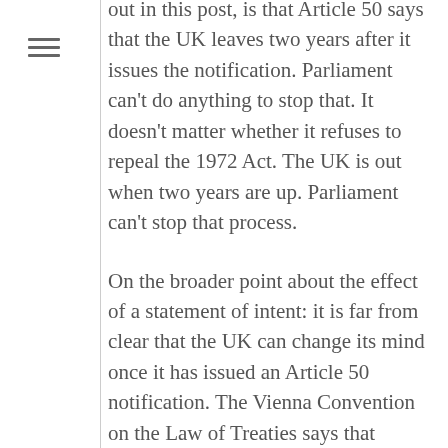out in this post, is that Article 50 says that the UK leaves two years after it issues the notification. Parliament can't do anything to stop that. It doesn't matter whether it refuses to repeal the 1972 Act. The UK is out when two years are up. Parliament can't stop that process.
On the broader point about the effect of a statement of intent: it is far from clear that the UK can change its mind once it has issued an Article 50 notification. The Vienna Convention on the Law of Treaties says that notifications of withdrawal